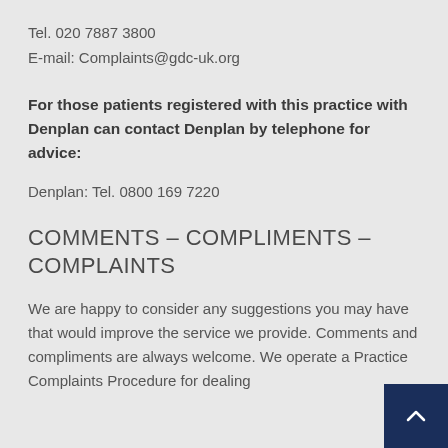Tel. 020 7887 3800
E-mail: Complaints@gdc-uk.org
For those patients registered with this practice with Denplan can contact Denplan by telephone for advice:
Denplan: Tel. 0800 169 7220
COMMENTS – COMPLIMENTS – COMPLAINTS
We are happy to consider any suggestions you may have that would improve the service we provide. Comments and compliments are always welcome. We operate a Practice Complaints Procedure for dealing